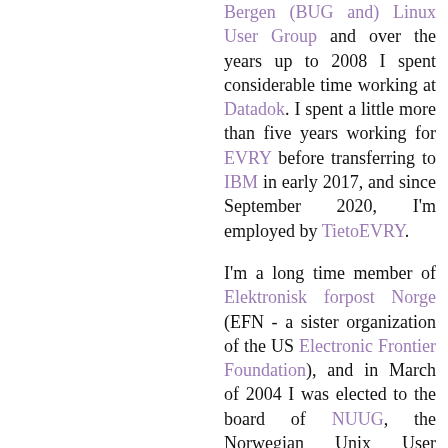Bergen (BUG and) Linux User Group and over the years up to 2008 I spent considerable time working at Datadok. I spent a little more than five years working for EVRY before transferring to IBM in early 2017, and since September 2020, I'm employed by TietoEVRY.
I'm a long time member of Elektronisk forpost Norge (EFN - a sister organization of the US Electronic Frontier Foundation), and in March of 2004 I was elected to the board of NUUG, the Norwegian Unix User Group, USENIX affiliated). In March of 2006, I was made vice chairman of the board of NUUG (conveniently while I was away at UKUUG Spring 2006) and served until March 2009, rejoined the board as chairman in June 2020.